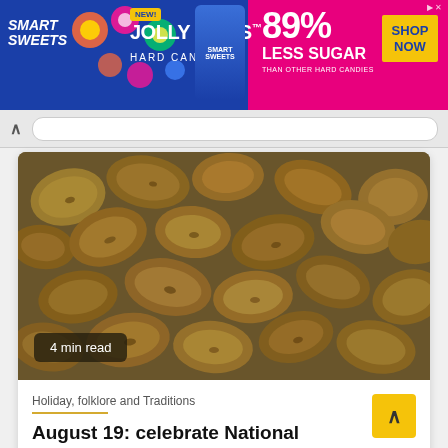[Figure (photo): Advertisement banner for Smart Sweets Jolly Gems Hard Candy — 89% Less Sugar than other hard candies, with SHOP NOW button]
[Figure (photo): Close-up photograph of many small yellow-brown potatoes piled together]
4 min read
Holiday, folklore and Traditions
August 19: celebrate National Potato Day!
6 hours ago   randomcollabs